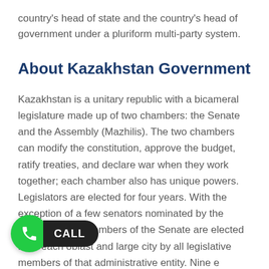country's head of state and the country's head of government under a pluriform multi-party system.
About Kazakhstan Government
Kazakhstan is a unitary republic with a bicameral legislature made up of two chambers: the Senate and the Assembly (Mazhilis). The two chambers can modify the constitution, approve the budget, ratify treaties, and declare war when they work together; each chamber also has unique powers. Legislators are elected for four years. With the exception of a few senators nominated by the president, two members of the Senate are elected from each oblast and large city by all legislative members of that administrative entity. Nine e Assembly are elected by the Assembly of the akhstan, a president-appointed body designed to represent the interests of Kazakhstan's various ethnic